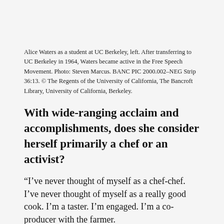Alice Waters as a student at UC Berkeley, left. After transferring to UC Berkeley in 1964, Waters became active in the Free Speech Movement. Photo: Steven Marcus. BANC PIC 2000.002–NEG Strip 36:13. © The Regents of the University of California, The Bancroft Library, University of California, Berkeley.
With wide-ranging acclaim and accomplishments, does she consider herself primarily a chef or an activist?
“I’ve never thought of myself as a chef-chef. I’ve never thought of myself as a really good cook. I’m a taster. I’m engaged. I’m a co-producer with the farmer.
“Yes, I’m a chef … because I can run a kitchen. But it’s always been a cooperation, (and) we,